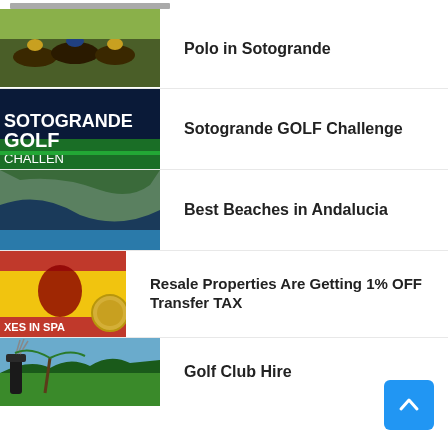Polo in Sotogrande
Sotogrande GOLF Challenge
Best Beaches in Andalucia
Resale Properties Are Getting 1% OFF Transfer TAX
Golf Club Hire